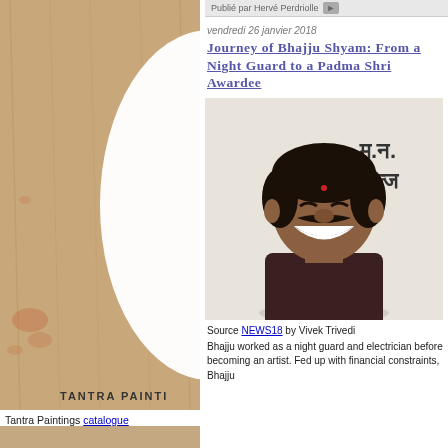[Figure (photo): Tantra painting book cover with beige/tan textured background and white oval shape in center, with text 'TANTRA PAINTINGS' at bottom]
Publié par Hervé Perdriolle
vendredi 26 janvier 2018
Journey of Bhajju Shyam: From a Night Guard to a Padma Shri Awardee
[Figure (photo): Photo of Bhajju Shyam smiling broadly, standing in front of a wall with Hindi/Devanagari script]
Source NEWS18 by Vivek Trivedi
Bhajju worked as a night guard and electrician before becoming an artist. Fed up with financial constraints, Bhajju
Tantra Paintings catalogue